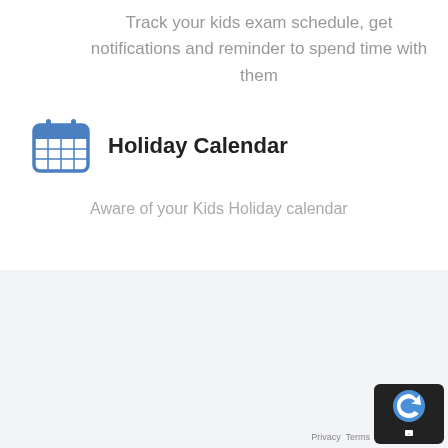Track your kids exam schedule, get notifications and reminder to spend time with them
[Figure (illustration): Blue calendar icon with grid lines representing dates]
Holiday Calendar
Aware of your Kids Holiday calendar
Would You Like To Have More Information About Getting Bluewings For Y...